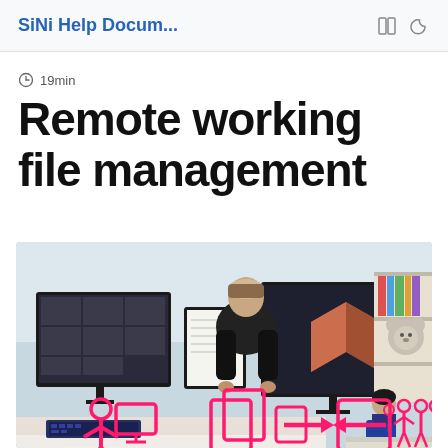SiNi Help Docum...
19min
Remote working file management
[Figure (photo): Photo of a person sitting at a desk with multiple monitors showing 3D design software, with pink/magenta illustrated icons overlaid showing a person at a computer, document icons, arrows, and a group of people. A child is visible in the background at a table.]